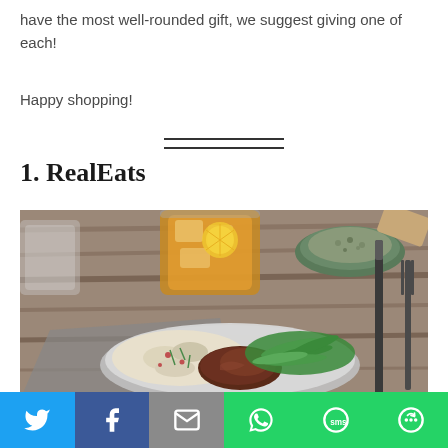have the most well-rounded gift, we suggest giving one of each!
Happy shopping!
1. RealEats
[Figure (photo): A plate of food on a wooden table featuring steak, potato salad, and green beans, alongside a glass of iced tea and a small bowl of seasoning, with a knife and fork to the right.]
[Figure (infographic): Social sharing bar with Twitter, Facebook, Email, WhatsApp, SMS, and More buttons.]